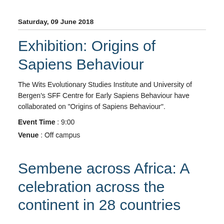Saturday, 09 June 2018
Exhibition: Origins of Sapiens Behaviour
The Wits Evolutionary Studies Institute and University of Bergen's SFF Centre for Early Sapiens Behaviour have collaborated on "Origins of Sapiens Behaviour".
Event Time : 9:00
Venue : Off campus
Sembene across Africa: A celebration across the continent in 28 countries